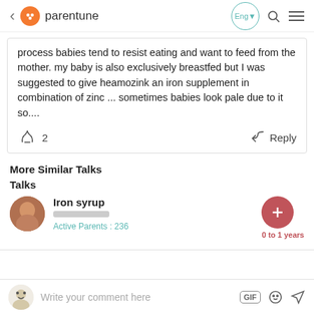parentune | Eng | search | menu
process babies tend to resist eating and want to feed from the mother. my baby is also exclusively breastfed but I was suggested to give heamozink an iron supplement in combination of zinc ... sometimes babies look pale due to it so....
👋 2   Reply
More Similar Talks
Talks
Iron syrup
Active Parents : 236
0 to 1 years
Write your comment here